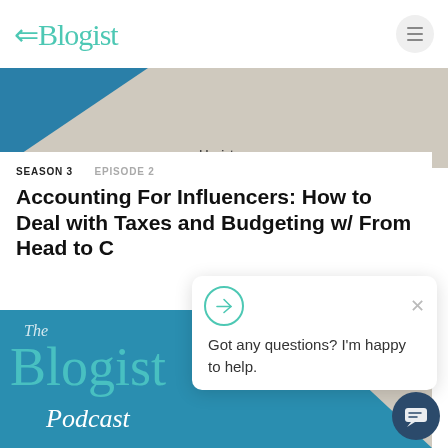ABlogist — navigation header with hamburger menu
[Figure (screenshot): Website banner with teal triangle on left, beige background, blogist.co URL text]
blogist.co
SEASON 3  EPISODE 2
Accounting For Influencers: How to Deal with Taxes and Budgeting w/ From Head to C
[Figure (screenshot): Chat widget popup: Got any questions? I'm happy to help. with close X button and navigation send icon circle]
Got any questions? I'm happy to help.
[Figure (illustration): The Blogist Podcast cover art — teal background with script logo text and beige triangle]